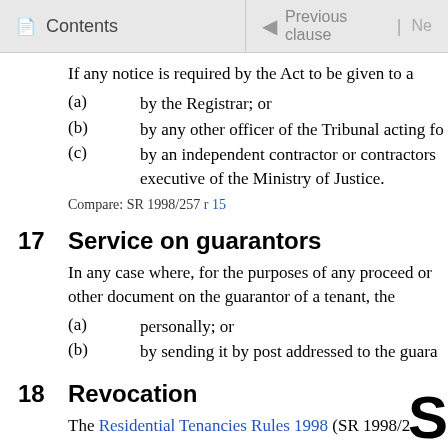Contents | Previous clause | Ne
If any notice is required by the Act to be given to a
(a)    by the Registrar; or
(b)    by any other officer of the Tribunal acting fo
(c)    by an independent contractor or contractors executive of the Ministry of Justice.
Compare: SR 1998/257 r 15
17   Service on guarantors
In any case where, for the purposes of any proceed or other document on the guarantor of a tenant, the
(a)    personally; or
(b)    by sending it by post addressed to the guara
18   Revocation
The Residential Tenancies Rules 1998 (SR 1998/2